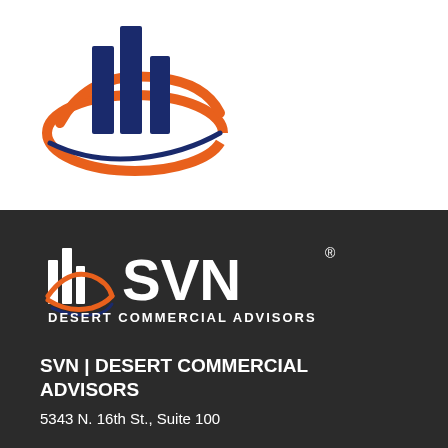[Figure (logo): SVN Desert Commercial Advisors logo mark — three dark navy blue bar-chart style pillars with an orange oval swoosh and a dark blue swoosh beneath, on white background]
[Figure (logo): SVN Desert Commercial Advisors full logo — white bar-chart icon with orange and blue swoosh, followed by 'SVN' in large white letters with registered trademark, and 'DESERT COMMERCIAL ADVISORS' in smaller white letters below, on dark background]
SVN | DESERT COMMERCIAL ADVISORS
5343 N. 16th St., Suite 100